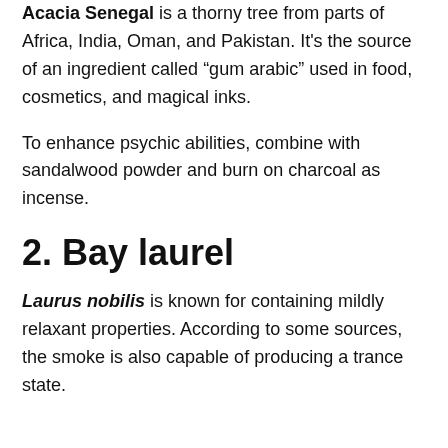Acacia Senegal is a thorny tree from parts of Africa, India, Oman, and Pakistan. It's the source of an ingredient called “gum arabic” used in food, cosmetics, and magical inks.
To enhance psychic abilities, combine with sandalwood powder and burn on charcoal as incense.
2. Bay laurel
Laurus nobilis is known for containing mildly relaxant properties. According to some sources, the smoke is also capable of producing a trance state.